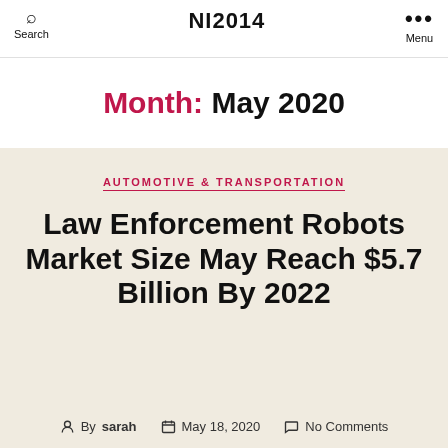Search  NI2014  Menu
Month: May 2020
AUTOMOTIVE & TRANSPORTATION
Law Enforcement Robots Market Size May Reach $5.7 Billion By 2022
By sarah   May 18, 2020   No Comments